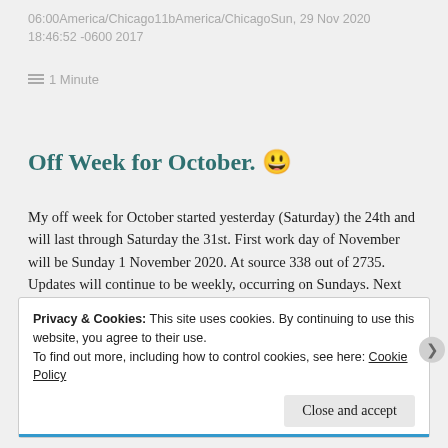06:00America/Chicago11bAmerica/ChicagoSun, 29 Nov 2020 18:46:52 -0600 2017
≡ 1 Minute
Off Week for October. 😁
My off week for October started yesterday (Saturday) the 24th and will last through Saturday the 31st. First work day of November will be Sunday 1 November 2020. At source 338 out of 2735. Updates will continue to be weekly, occurring on Sundays. Next update will be 1 November. So, until then, True Believers, Excalibur! 😎
Privacy & Cookies: This site uses cookies. By continuing to use this website, you agree to their use.
To find out more, including how to control cookies, see here: Cookie Policy
Close and accept